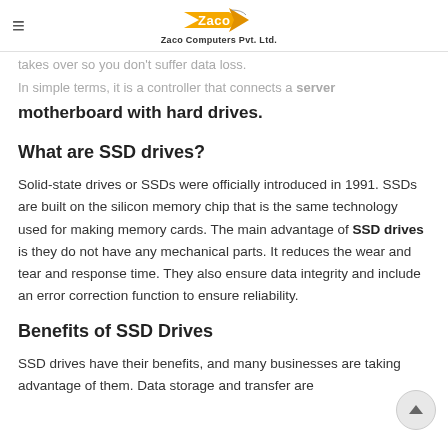Zaco Computers Pvt. Ltd.
takes over so you don't suffer data loss.
In simple terms, it is a controller that connects a server motherboard with hard drives.
What are SSD drives?
Solid-state drives or SSDs were officially introduced in 1991. SSDs are built on the silicon memory chip that is the same technology used for making memory cards. The main advantage of SSD drives is they do not have any mechanical parts. It reduces the wear and tear and response time. They also ensure data integrity and include an error correction function to ensure reliability.
Benefits of SSD Drives
SSD drives have their benefits, and many businesses are taking advantage of them. Data storage and transfer are